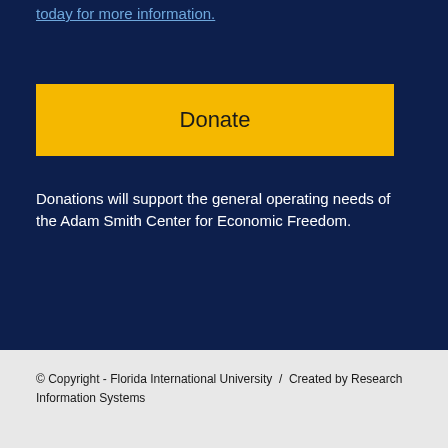today for more information.
Donate
Donations will support the general operating needs of the Adam Smith Center for Economic Freedom.
© Copyright - Florida International University  /  Created by Research Information Systems